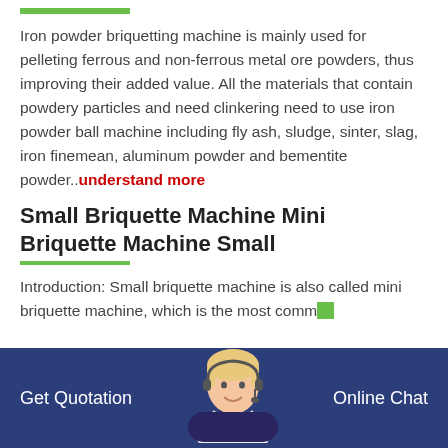Iron powder briquetting machine is mainly used for pelleting ferrous and non-ferrous metal ore powders, thus improving their added value. All the materials that contain powdery particles and need clinkering need to use iron powder ball machine including fly ash, sludge, sinter, slag, iron finemean, aluminum powder and bementite powder.. understand more
Small Briquette Machine Mini Briquette Machine Small
Introduction: Small briquette machine is also called mini briquette machine, which is the most comm...
Get Quotation   Online Chat